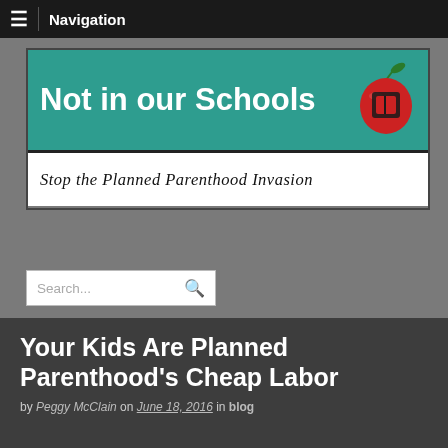Navigation
[Figure (logo): Not in our Schools - Stop the Planned Parenthood Invasion logo with teal background, white bold text and a red apple graphic on the right]
Search...
Your Kids Are Planned Parenthood's Cheap Labor
by Peggy McClain on June 18, 2016 in blog